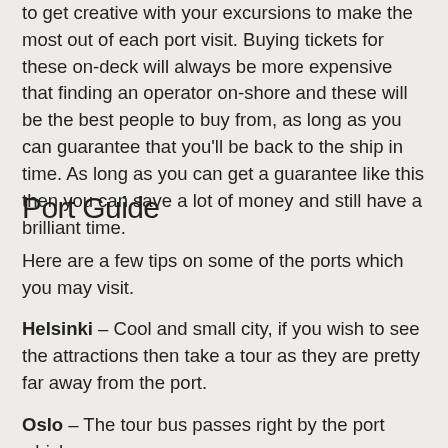to get creative with your excursions to make the most out of each port visit. Buying tickets for these on-deck will always be more expensive that finding an operator on-shore and these will be the best people to buy from, as long as you can guarantee that you'll be back to the ship in time. As long as you can get a guarantee like this then you can save a lot of money and still have a brilliant time.
Port Guide
Here are a few tips on some of the ports which you may visit.
Helsinki – Cool and small city, if you wish to see the attractions then take a tour as they are pretty far away from the port.
Oslo – The tour bus passes right by the port which